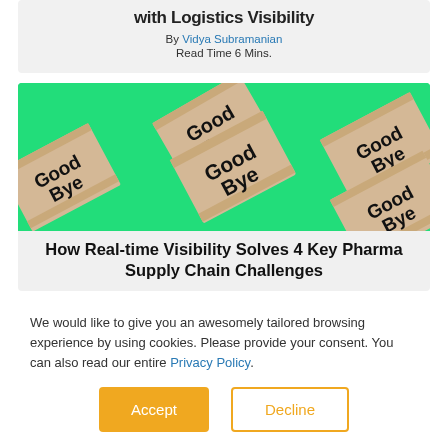with Logistics Visibility
By Vidya Subramanian
Read Time 6 Mins.
[Figure (photo): Multiple cardboard boxes labeled 'Good Bye' arranged on a green background, viewed from above at an angle.]
How Real-time Visibility Solves 4 Key Pharma Supply Chain Challenges
We would like to give you an awesomely tailored browsing experience by using cookies. Please provide your consent. You can also read our entire Privacy Policy.